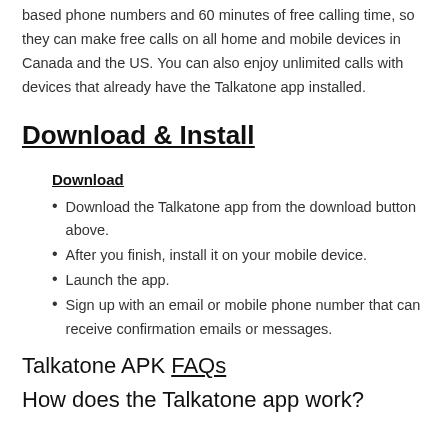based phone numbers and 60 minutes of free calling time, so they can make free calls on all home and mobile devices in Canada and the US. You can also enjoy unlimited calls with devices that already have the Talkatone app installed.
Download & Install
Download
Download the Talkatone app from the download button above.
After you finish, install it on your mobile device.
Launch the app.
Sign up with an email or mobile phone number that can receive confirmation emails or messages.
Talkatone APK FAQs
How does the Talkatone app work?